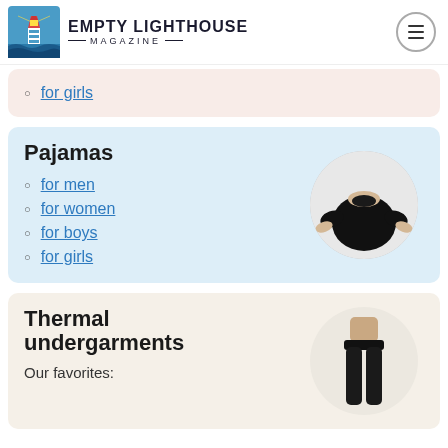Empty Lighthouse Magazine
for girls
Pajamas
for men
for women
for boys
for girls
Thermal undergarments
Our favorites: